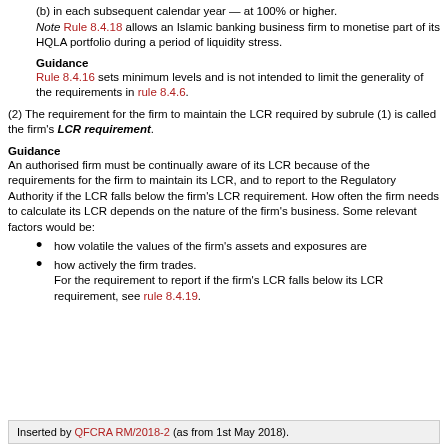(b) in each subsequent calendar year — at 100% or higher. Note Rule 8.4.18 allows an Islamic banking business firm to monetise part of its HQLA portfolio during a period of liquidity stress.
Guidance
Rule 8.4.16 sets minimum levels and is not intended to limit the generality of the requirements in rule 8.4.6.
(2) The requirement for the firm to maintain the LCR required by subrule (1) is called the firm's LCR requirement.
Guidance
An authorised firm must be continually aware of its LCR because of the requirements for the firm to maintain its LCR, and to report to the Regulatory Authority if the LCR falls below the firm's LCR requirement. How often the firm needs to calculate its LCR depends on the nature of the firm's business. Some relevant factors would be:
how volatile the values of the firm's assets and exposures are
how actively the firm trades. For the requirement to report if the firm's LCR falls below its LCR requirement, see rule 8.4.19.
Inserted by QFCRA RM/2018-2 (as from 1st May 2018).